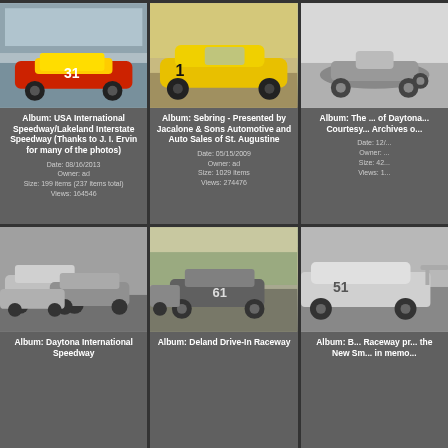[Figure (photo): NASCAR stock car #31, red and yellow, racing at USA International Speedway/Lakeland]
Album: USA International Speedway/Lakeland Interstate Speedway (Thanks to J. I. Ervin for many of the photos)
Date: 08/16/2013
Owner: ad
Size: 199 items (237 items total)
Views: 164546
[Figure (photo): Yellow sports car #1 at Sebring race, side profile]
Album: Sebring - Presented by Jacalone & Sons Automotive and Auto Sales of St. Augustine
Date: 05/15/2009
Owner: ad
Size: 1029 items
Views: 274476
[Figure (photo): Black and white vintage race car at Daytona, partial view]
Album: The ... of Daytona... Courtesy... Archives o...
Date: 12/...
Owner: ...
Size: 42...
Views: 1...
[Figure (photo): Black and white photo of multiple stock cars racing at Daytona International Speedway]
Album: Daytona International Speedway
[Figure (photo): Black and white photo of vintage stock cars racing, car #61 prominent, at Deland Drive-In Raceway]
Album: Deland Drive-In Raceway
[Figure (photo): Modern race car partially visible, New Smyrna raceway album]
Album: B... Raceway pr... the New Sm... in memo...